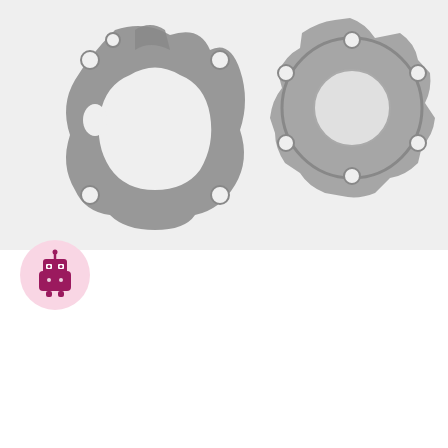[Figure (photo): Two engine gaskets on a light gray background: a darker irregularly-shaped flat gasket on the left and a circular hub/flange gasket with bolt holes on the right.]
[Figure (illustration): Robot chatbot icon with a pink/magenta colored robot face with antenna and camera-like eyes, inside a pink circle.]
Data Privacy Bot
Hi there! We would love to talk with you. Under the EU General Data Protection Regulation, we need your approval for our use of personal information (e.g. your name and email address) you may provide as we communicate:
Yes, I Accept
No, Not Now